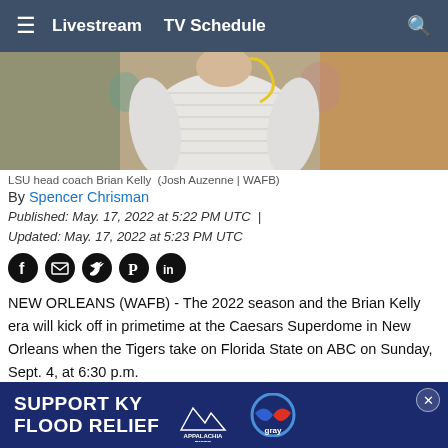≡  Livestream   TV Schedule   🔍
[Figure (photo): LSU head coach Brian Kelly shown from behind in a white polo shirt with a yellow headset cord, blurred crowd in background]
LSU head coach Brian Kelly  (Josh Auzenne | WAFB)
By Spencer Chrisman
Published: May. 17, 2022 at 5:22 PM UTC  |
Updated: May. 17, 2022 at 5:23 PM UTC
[Figure (other): Social share icons: Facebook, Email, Twitter, Pinterest, LinkedIn]
NEW ORLEANS (WAFB) - The 2022 season and the Brian Kelly era will kick off in primetime at the Caesars Superdome in New Orleans when the Tigers take on Florida State on ABC on Sunday, Sept. 4, at 6:30 p.m.
The Tig...ing 6-7
[Figure (other): Advertisement banner: SUPPORT KY FLOOD RELIEF with Appalachia Rises and Gray Television logos]